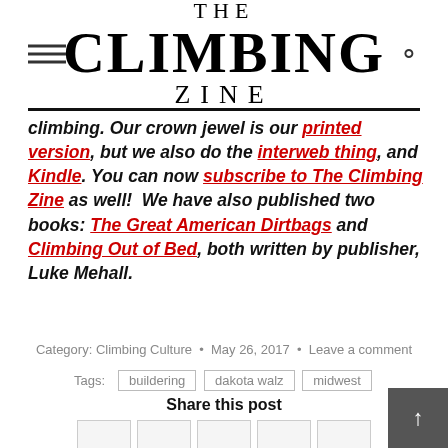THE CLIMBING ZINE
climbing. Our crown jewel is our printed version, but we also do the interweb thing, and Kindle. You can now subscribe to The Climbing Zine as well! We have also published two books: The Great American Dirtbags and Climbing Out of Bed, both written by publisher, Luke Mehall.
Category: Climbing Culture • May 26, 2017 • Leave a comment
Tags: buildering dakota walz midwest
Share this post